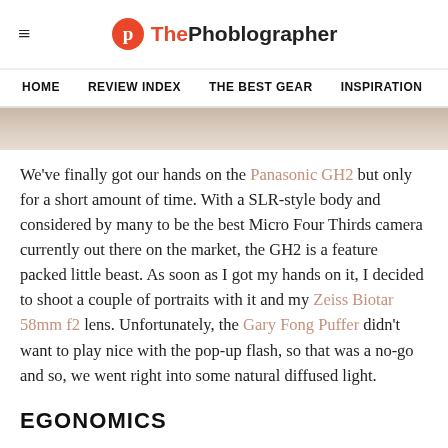ThePhoblographer
HOME  REVIEW INDEX  THE BEST GEAR  INSPIRATION  LE...
[Figure (photo): Partial photo strip, blurred neutral-toned background]
We’ve finally got our hands on the Panasonic GH2 but only for a short amount of time. With a SLR-style body and considered by many to be the best Micro Four Thirds camera currently out there on the market, the GH2 is a feature packed little beast. As soon as I got my hands on it, I decided to shoot a couple of portraits with it and my Zeiss Biotar 58mm f2 lens. Unfortunately, the Gary Fong Puffer didn’t want to play nice with the pop-up flash, so that was a no-go and so, we went right into some natural diffused light.
EGONOMICS